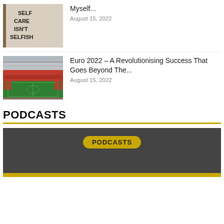[Figure (photo): Book or fabric with 'SELF CARE ISN'T SELFISH' text printed on it]
Myself...
August 15, 2022
[Figure (photo): Wembley stadium aerial view showing red seats and green pitch]
Euro 2022 – A Revolutionising Success That Goes Beyond The...
August 15, 2022
PODCASTS
[Figure (screenshot): Dark grey podcast banner with a yellow PODCASTS badge and yellow bottom stripe]